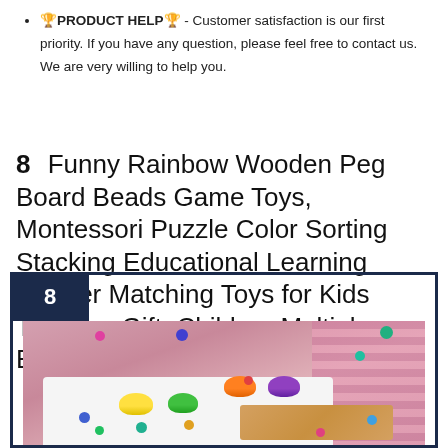🏆PRODUCT HELP🏆 - Customer satisfaction is our first priority. If you have any question, please feel free to contact us. We are very willing to help you.
8   Funny Rainbow Wooden Peg Board Beads Game Toys, Montessori Puzzle Color Sorting Stacking Educational Learning Toddler Matching Toys for Kids Toddlers Gift, Children Multiplayer Board PK Toys
[Figure (photo): Product photo of colorful sorting toy with rainbow-colored silicone cups, beads/balls in various colors, and a wooden peg board on a white platform against a pink background with striped curtain. Number badge '8' in dark navy in top-left corner.]